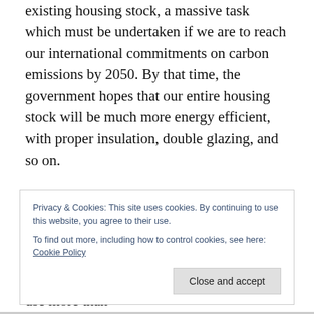massively improve the energy efficiency of Britain's existing housing stock, a massive task which must be undertaken if we are to reach our international commitments on carbon emissions by 2050. By that time, the government hopes that our entire housing stock will be much more energy efficient, with proper insulation, double glazing, and so on.
It is an improvement which is desperately needed. The average house in Britain uses more energy to heat it than those in many Scandinavian countries, where (given the colder climate) we would expect them to use more than
Privacy & Cookies: This site uses cookies. By continuing to use this website, you agree to their use.
To find out more, including how to control cookies, see here: Cookie Policy